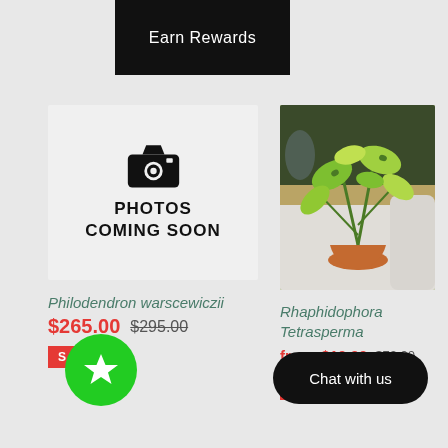Earn Rewards
[Figure (illustration): Gray placeholder box with camera icon and text PHOTOS COMING SOON]
Philodendron warscewiczii
$265.00  $295.00
SALE
[Figure (photo): Photo of a Rhaphidophora Tetrasperma plant (pothos-like tropical houseplant) in a terracotta pot on a white surface with other plants in background]
Rhaphidophora Tetrasperma
from $10.00  $72.00
SALE
Chat with us